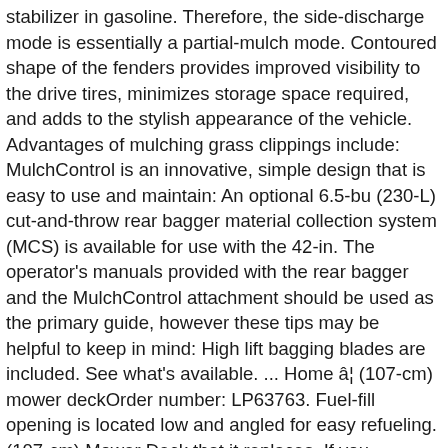stabilizer in gasoline. Therefore, the side-discharge mode is essentially a partial-mulch mode. Contoured shape of the fenders provides improved visibility to the drive tires, minimizes storage space required, and adds to the stylish appearance of the vehicle. Advantages of mulching grass clippings include: MulchControl is an innovative, simple design that is easy to use and maintain: An optional 6.5-bu (230-L) cut-and-throw rear bagger material collection system (MCS) is available for use with the 42-in. The operator's manuals provided with the rear bagger and the MulchControl attachment should be used as the primary guide, however these tips may be helpful to keep in mind: High lift bagging blades are included. See what's available. ... Home â¦ (107-cm) mower deckOrder number: LP63763. Fuel-fill opening is located low and angled for easy refueling. (107-cm) Mower Deck that it replaces. If you purchased a John Deere Riding Mower or Zero-Turn Mower from The Home Depot or Lowe's, please provide the information below to register your warranty